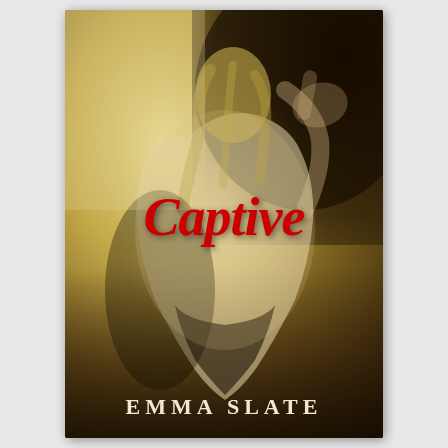[Figure (illustration): Book cover for 'Captive' by Emma Slate. Features a woman seen from behind with blonde hair, wearing a white garment, leaning against a wall. The image has warm golden-brown tones with dark shadows. The title 'Captive' is written in large red cursive script in the center, and the author name 'Emma Slate' appears in white uppercase serif letters at the bottom.]
Captive
Emma Slate